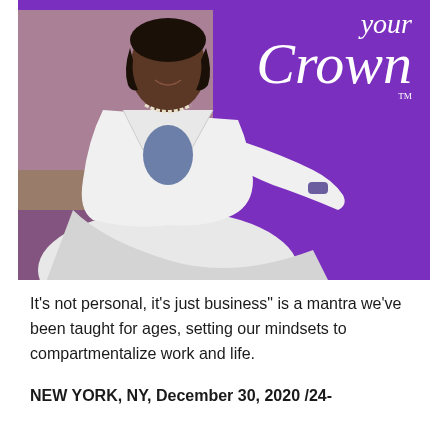[Figure (photo): A woman in a white outfit smiling, posed against a purple background with cursive text reading 'your Crown' with a TM mark. The image is a promotional/magazine-style photo.]
It's not personal, it's just business" is a mantra we've been taught for ages, setting our mindsets to compartmentalize work and life.
NEW YORK, NY, December 30, 2020 /24-